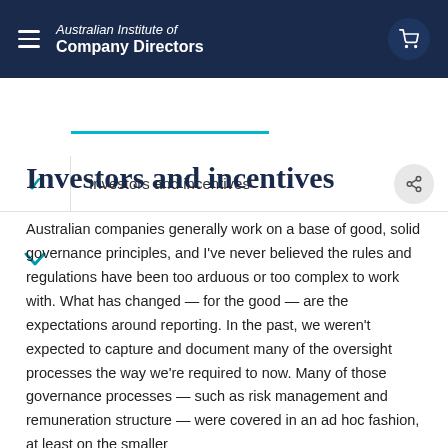Australian Institute of Company Directors
Investors and incentives
Investors and incentives
Australian companies generally work on a base of good, solid governance principles, and I've never believed the rules and regulations have been too arduous or too complex to work with. What has changed — for the good — are the expectations around reporting. In the past, we weren't expected to capture and document many of the oversight processes the way we're required to now. Many of those governance processes — such as risk management and remuneration structure — were covered in an ad hoc fashion, at least on the smaller